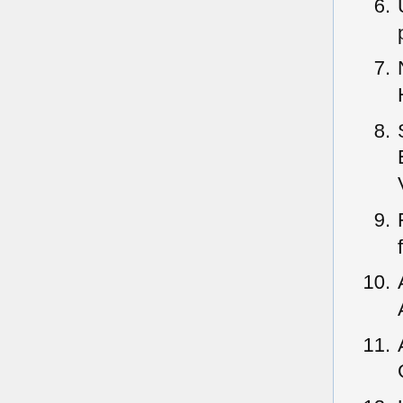6. Updated Sanctification of the Oil prayers
7. No procession during Vespers of Hosanna Sunday
8. Show both Adam and Watos Expositions for the Pentecost Period in Vesper Praises
9. Remove Pentecost Period Expositions from Midnight Praises
10. Added Arabic translation to two Agpeya Communion Prayers
11. Added Psalms 1-3 to 12th Hour of Great Friday
12. Updated translation of Lazarus Saturday responses
13. Fixed exposition introduction for 6th Hour of the Eve of Tuesday
14. Fixed Coptic numberings in most